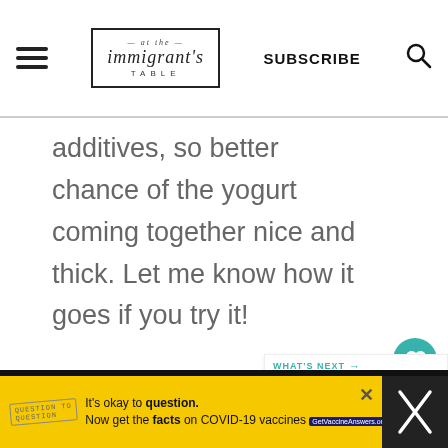At The Immigrant's Table — SUBSCRIBE
additives, so better chance of the yogurt coming together nice and thick. Let me know how it goes if you try it!
Reply
WHAT'S NEXT → Dried fruit and granola...
It's okay to question. Now get the facts on COVID-19 vaccines GetVaccineAnswers.org